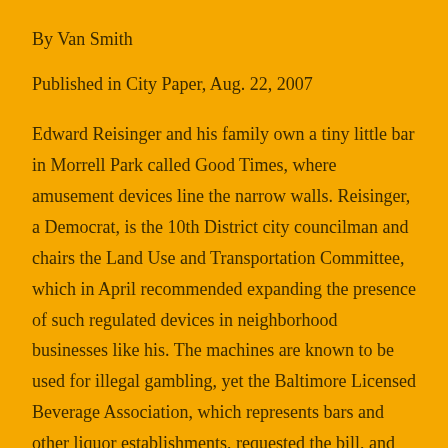By Van Smith
Published in City Paper, Aug. 22, 2007
Edward Reisinger and his family own a tiny little bar in Morrell Park called Good Times, where amusement devices line the narrow walls. Reisinger, a Democrat, is the 10th District city councilman and chairs the Land Use and Transportation Committee, which in April recommended expanding the presence of such regulated devices in neighborhood businesses like his. The machines are known to be used for illegal gambling, yet the Baltimore Licensed Beverage Association, which represents bars and other liquor establishments, requested the bill, and its supporters have donated heavily to Reisinger's re-election campaign. The